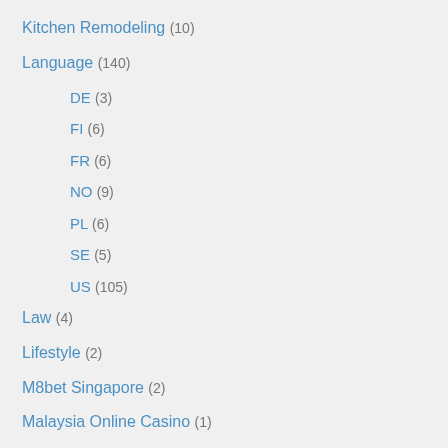Kitchen Remodeling (10)
Language (140)
DE (3)
FI (6)
FR (6)
NO (9)
PL (6)
SE (5)
US (105)
Law (4)
Lifestyle (2)
M8bet Singapore (2)
Malaysia Online Casino (1)
Molding Machines (4)
Motorcycle Insurance (6)